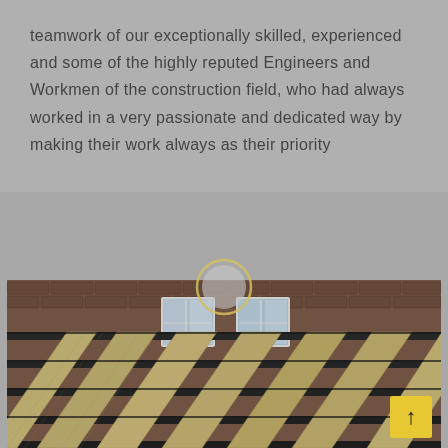teamwork of our exceptionally skilled, experienced and some of the highly reputed Engineers and Workmen of the construction field, who had always worked in a very passionate and dedicated way by making their work always as their priority
[Figure (photo): Close-up view from below of wooden pergola/roof beams arranged in a grid pattern, with a brick building and white windows visible in the background. Photo shows construction timber framing against a brick facade.]